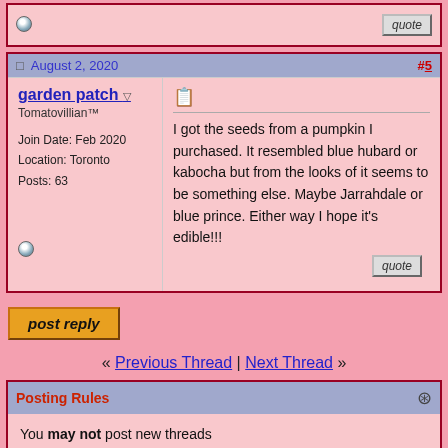August 2, 2020 #5
garden patch
Tomatovillian™
Join Date: Feb 2020
Location: Toronto
Posts: 63
I got the seeds from a pumpkin I purchased. It resembled blue hubard or kabocha but from the looks of it seems to be something else. Maybe Jarrahdale or blue prince. Either way I hope it's edible!!!
post reply
« Previous Thread | Next Thread »
Posting Rules
You may not post new threads
You may not post replies
You may not post attachments
You may not edit your posts